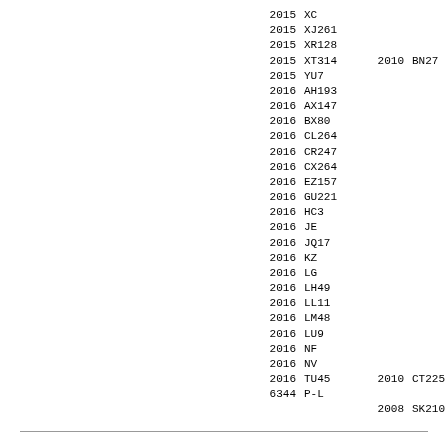| Year | Code | Year2 | Code2 | Type |
| --- | --- | --- | --- | --- |
| 2015 | XC |  |  | NEA |
| 2015 | XJ261 |  |  | NEA |
| 2015 | XR128 |  |  | NEA |
| 2015 | XT314 | 2010 | BN27 | MBA |
| 2015 | YU7 |  |  | NEA |
| 2016 | AH193 |  |  | NEA |
| 2016 | AX147 |  |  | NEA |
| 2016 | BX80 |  |  | NEA |
| 2016 | CL264 |  |  | NEA |
| 2016 | CR247 |  |  | NEA |
| 2016 | CX264 |  |  | NEA |
| 2016 | EZ157 |  |  | NEA |
| 2016 | GU221 |  |  | NEA |
| 2016 | HC3 |  |  | NEA |
| 2016 | JE |  |  | NEA |
| 2016 | JQ17 |  |  | NEA |
| 2016 | KZ |  |  | NEA |
| 2016 | LG |  |  | NEA |
| 2016 | LH49 |  |  | NEA |
| 2016 | LL11 |  |  | NEA |
| 2016 | LM48 |  |  | NEA |
| 2016 | LU9 |  |  | NEA |
| 2016 | NF |  |  | NEA |
| 2016 | NV |  |  | NEA |
| 2016 | TU45 | 2010 | CT225 | MBA |
| 6344 | P-L |  |  | NEA |
|  |  | 2008 | SK210 | MBA |